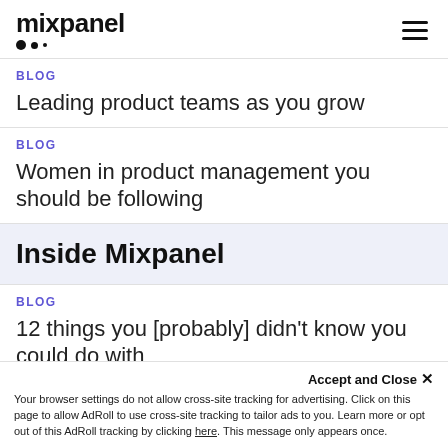[Figure (logo): Mixpanel logo with three dots below]
BLOG
Leading product teams as you grow
BLOG
Women in product management you should be following
Inside Mixpanel
BLOG
12 things you [probably] didn't know you could do with Mixpanel
Accept and Close ✕
Your browser settings do not allow cross-site tracking for advertising. Click on this page to allow AdRoll to use cross-site tracking to tailor ads to you. Learn more or opt out of this AdRoll tracking by clicking here. This message only appears once.